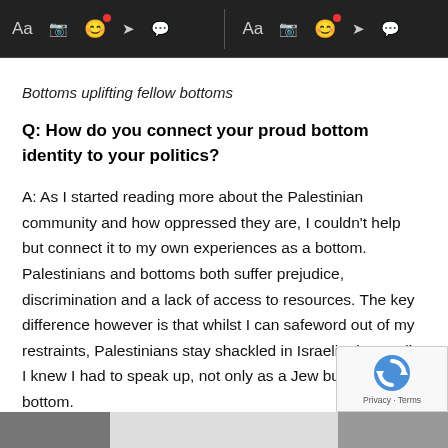[Figure (screenshot): Dark toolbar with messaging app icons including Aa, camera, emoji (with red badge), send arrow, and speech bubble icons, mirrored on both left and right sides with a vertical divider in the center.]
Bottoms uplifting fellow bottoms
Q: How do you connect your proud bottom identity to your politics?
A: As I started reading more about the Palestinian community and how oppressed they are, I couldn't help but connect it to my own experiences as a bottom. Palestinians and bottoms both suffer prejudice, discrimination and a lack of access to resources. The key difference however is that whilst I can safeword out of my restraints, Palestinians stay shackled in Israeli prison cells. I knew I had to speak up, not only as a Jew but also as a bottom.
[Figure (photo): Partially visible photos at the bottom of the screen, cropped off.]
[Figure (logo): reCAPTCHA logo overlay in bottom right with Privacy and Terms text.]